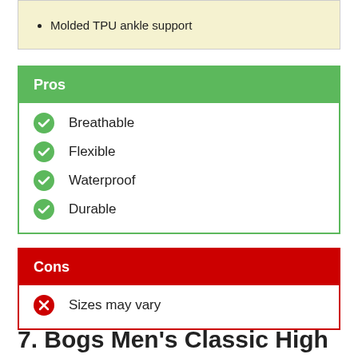Molded TPU ankle support
Pros
Breathable
Flexible
Waterproof
Durable
Cons
Sizes may vary
7. Bogs Men's Classic High